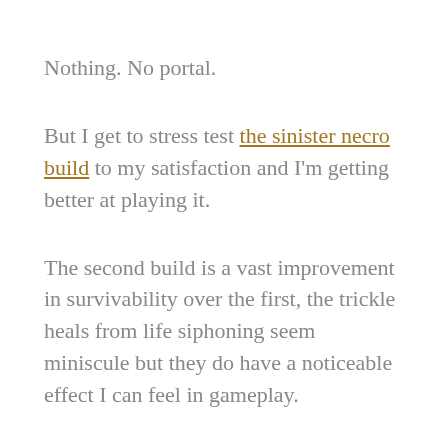Nothing. No portal.
But I get to stress test the sinister necro build to my satisfaction and I'm getting better at playing it.
The second build is a vast improvement in survivability over the first, the trickle heals from life siphoning seem miniscule but they do have a noticeable effect I can feel in gameplay.
On Day 2, I still play normally, but I branch